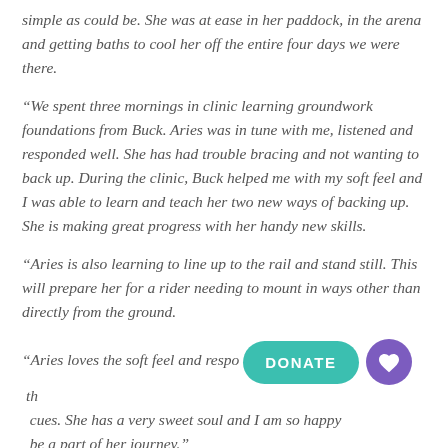simple as could be. She was at ease in her paddock, in the arena and getting baths to cool her off the entire four days we were there.
“We spent three mornings in clinic learning groundwork foundations from Buck. Aries was in tune with me, listened and responded well. She has had trouble bracing and not wanting to back up. During the clinic, Buck helped me with my soft feel and I was able to learn and teach her two new ways of backing up. She is making great progress with her handy new skills.
“Aries is also learning to line up to the rail and stand still. This will prepare her for a rider needing to mount in ways other than directly from the ground.
“Aries loves the soft feel and respo[nds well to th]e cues. She has a very sweet soul and I am so happy [to] be a part of her journey.”